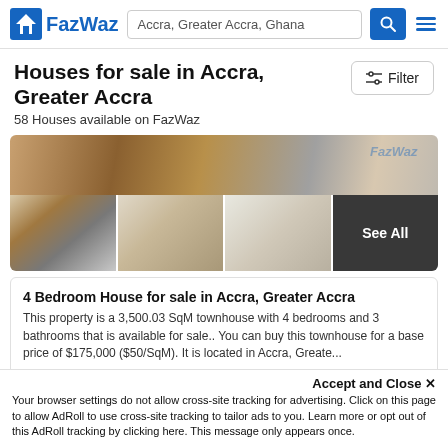FazWaz — Accra, Greater Accra, Ghana
Houses for sale in Accra, Greater Accra
58 Houses available on FazWaz
[Figure (photo): Property photo gallery showing exterior and interior views of a house in Accra with a 'See All' overlay on the last thumbnail]
4 Bedroom House for sale in Accra, Greater Accra
This property is a 3,500.03 SqM townhouse with 4 bedrooms and 3 bathrooms that is available for sale.. You can buy this townhouse for a base price of $175,000 ($50/SqM). It is located in Accra, Greate...
4   3   3,500.03 SqM   House
Accept and Close ✕
Your browser settings do not allow cross-site tracking for advertising. Click on this page to allow AdRoll to use cross-site tracking to tailor ads to you. Learn more or opt out of this AdRoll tracking by clicking here. This message only appears once.